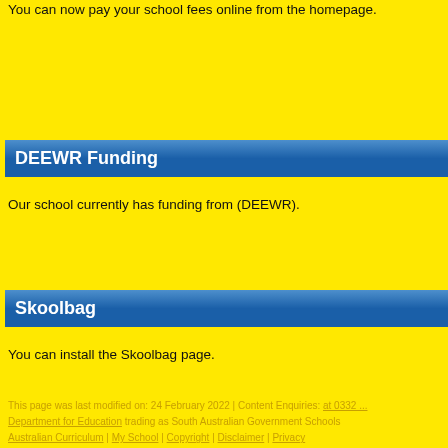You can now pay your school fees online from the homepage.
DEEWR Funding
Our school currently has funding from (DEEWR).
Skoolbag
You can install the Skoolbag page.
This page was last modified on:  24 February 2022 | Content Enquiries:  Department for Education trading as South Australian Government Schools Australian Curriculum | My School | Copyright | Disclaimer | Privacy